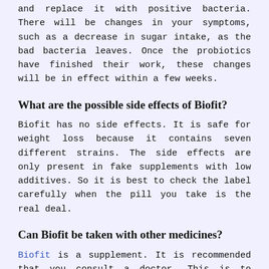and replace it with positive bacteria. There will be changes in your symptoms, such as a decrease in sugar intake, as the bad bacteria leaves. Once the probiotics have finished their work, these changes will be in effect within a few weeks.
What are the possible side effects of Biofit?
Biofit has no side effects. It is safe for weight loss because it contains seven different strains. The side effects are only present in fake supplements with low additives. So it is best to check the label carefully when the pill you take is the real deal.
Can Biofit be taken with other medicines?
Biofit is a supplement. It is recommended that you consult a doctor. This is to ensure that the potential outcomes of the pill